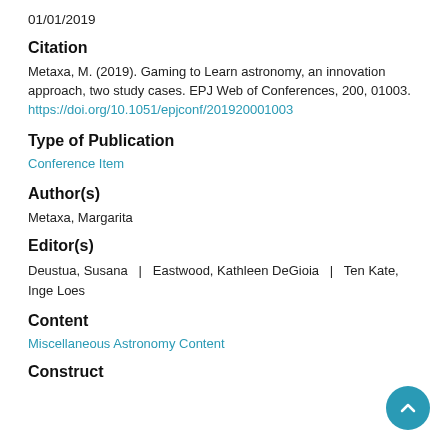01/01/2019
Citation
Metaxa, M. (2019). Gaming to Learn astronomy, an innovation approach, two study cases. EPJ Web of Conferences, 200, 01003. https://doi.org/10.1051/epjconf/201920001003
Type of Publication
Conference Item
Author(s)
Metaxa, Margarita
Editor(s)
Deustua, Susana | Eastwood, Kathleen DeGioia | Ten Kate, Inge Loes
Content
Miscellaneous Astronomy Content
Construct